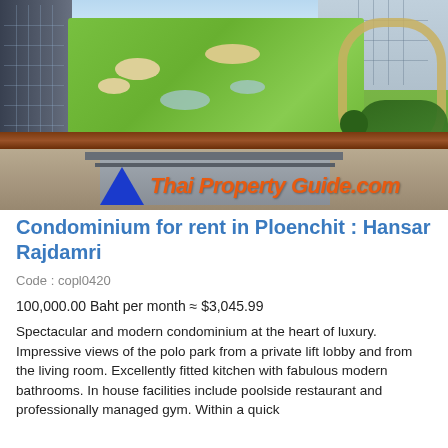[Figure (photo): Aerial view from a high-rise balcony showing a polo park / golf course with green grass, sand bunkers, a circular track, surrounding buildings, and trees. A wooden railing is visible in the foreground. Thai Property Guide.com watermark with blue triangle logo and orange italic text.]
Condominium for rent in Ploenchit : Hansar Rajdamri
Code : copl0420
100,000.00 Baht per month ≈ $3,045.99
Spectacular and modern condominium at the heart of luxury. Impressive views of the polo park from a private lift lobby and from the living room. Excellently fitted kitchen with fabulous modern bathrooms. In house facilities include poolside restaurant and professionally managed gym. Within a quick